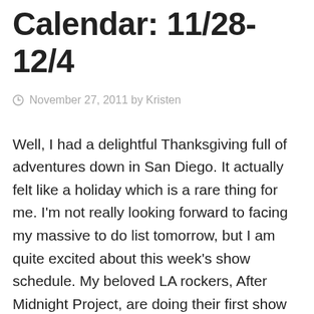Calendar: 11/28-12/4
November 27, 2011 by Kristen
Well, I had a delightful Thanksgiving full of adventures down in San Diego. It actually felt like a holiday which is a rare thing for me. I'm not really looking forward to facing my massive to do list tomorrow, but I am quite excited about this week's show schedule. My beloved LA rockers, After Midnight Project, are doing their first show in what seems like years Monday night in North Hollywood at The Federal Bar. Another highlight is Tuesday